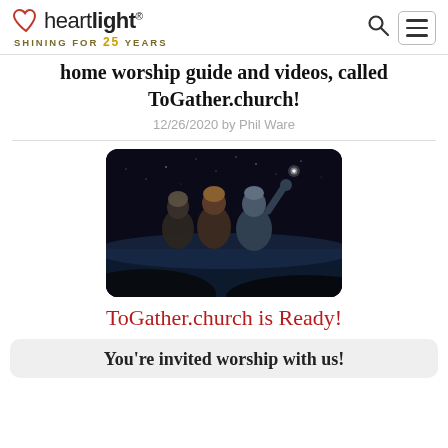heartlight® SHINING FOR 25 YEARS
home worship guide and videos, called ToGather.church!
12/26/2020 by Phil Ware
[Figure (photo): Three figures in biblical robes looking up at a bright star in a dark night sky, representing the wise men or magi from the nativity story.]
ToGather.church is Ready!
You're invited worship with us!